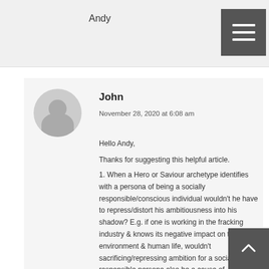Andy
John
November 28, 2020 at 6:08 am
Hello Andy,
Thanks for suggesting this helpful article.
1. When a Hero or Saviour archetype identifies with a persona of being a socially responsible/conscious individual wouldn't he have to repress/distort his ambitiousness into his shadow? E.g. if one is working in the fracking industry & knows its negative impact on the environment & human life, wouldn't sacrificing/repressing ambition for a social responsible persona also be a cause of